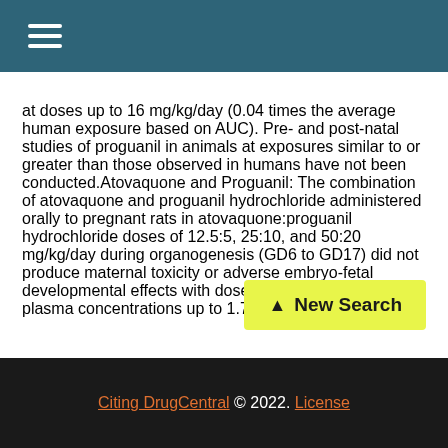☰
at doses up to 16 mg/kg/day (0.04 times the average human exposure based on AUC). Pre- and post-natal studies of proguanil in animals at exposures similar to or greater than those observed in humans have not been conducted.Atovaquone and Proguanil: The combination of atovaquone and proguanil hydrochloride administered orally to pregnant rats in atovaquone:proguanil hydrochloride doses of 12.5:5, 25:10, and 50:20 mg/kg/day during organogenesis (GD6 to GD17) did not produce maternal toxicity or adverse embryo-fetal developmental effects with doses up to 50:20 mg/kg... to plasma concentrations up to 1.7 and 0.1 times,
[Figure (other): New Search button with yellow background and upward arrow icon]
Citing DrugCentral © 2022. License